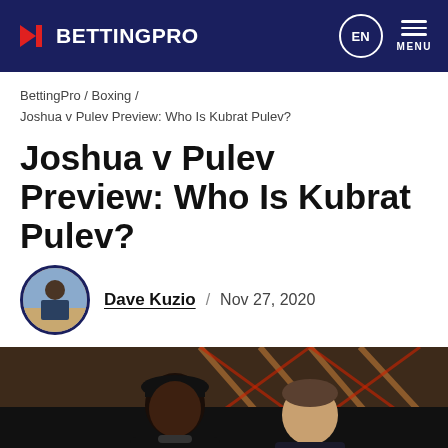BETTING PRO | EN | MENU
BettingPro / Boxing / Joshua v Pulev Preview: Who Is Kubrat Pulev?
Joshua v Pulev Preview: Who Is Kubrat Pulev?
Dave Kuzio / Nov 27, 2020
[Figure (photo): Two boxers facing each other in a press conference stare-down, with Sky and Box Office branding visible in the background.]